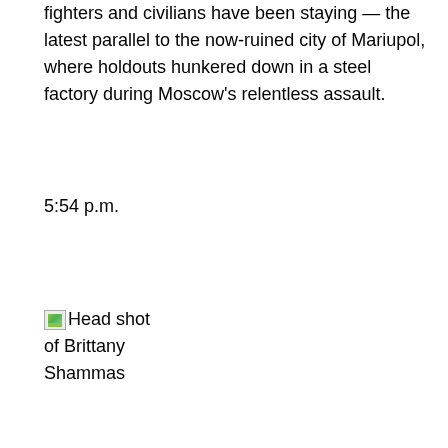fighters and civilians have been staying — the latest parallel to the now-ruined city of Mariupol, where holdouts hunkered down in a steel factory during Moscow's relentless assault.
5:54 p.m.
[Figure (photo): Broken image placeholder for headshot of Brittany Shammas]
We use cookies on our website to give you the most relevant experience by remembering your preferences and repeat visits. By clicking "Accept", you consent to the use of ALL the cookies.
Cookie settings   ACCEPT